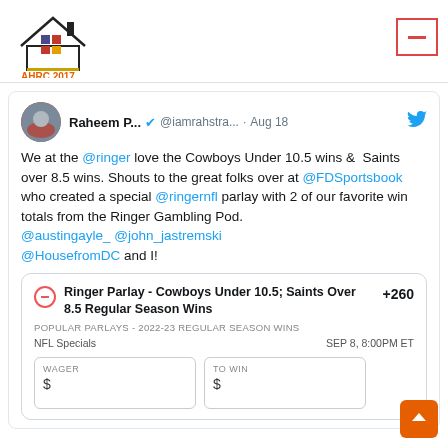[Figure (logo): AHRC 2017 American Housing Resource Center logo with house outline and colored squares]
Raheem P... @iamrahstra... · Aug 18
We at the @ringer love the Cowboys Under 10.5 wins & Saints over 8.5 wins. Shouts to the great folks over at @FDSportsbook who created a special @ringernfl parlay with 2 of our favorite win totals from the Ringer Gambling Pod. @austingayle_ @john_jastremski @HousefromDC and I!
| Ringer Parlay - Cowboys Under 10.5; Saints Over 8.5 Regular Season Wins | +260 |
| POPULAR PARLAYS - 2022-23 REGULAR SEASON WINS |  |
| NFL Specials | SEP 8, 8:00PM ET |
| WAGER $ | TO WIN $ |